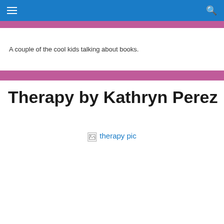☰  🔍
A couple of the cool kids talking about books.
Therapy by Kathryn Perez
[Figure (photo): Broken image placeholder with alt text 'therapy pic']